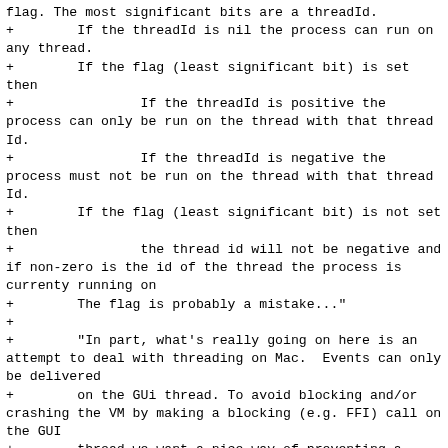flag. The most significant bits are a threadId.
+        If the threadId is nil the process can run on any thread.
+        If the flag (least significant bit) is set then
+                If the threadId is positive the process can only be run on the thread with that thread Id.
+                If the threadId is negative the process must not be run on the thread with that thread Id.
+        If the flag (least significant bit) is not set then
+                the thread id will not be negative and if non-zero is the id of the thread the process is currenty running on
+        The flag is probably a mistake..."
+
+        "In part, what's really going on here is an attempt to deal with threading on Mac.  Events can only be delivered
+        on the GUi thread. To avoid blocking and/or crashing the VM by making a blocking (e.g. FFI) call on the GUI
+        thread we want a nice way of preventing a process from running on the GUI thread.  We can then use a process
+        whose threadId precludes running on the GUI thread to make blocking calls.  The alternative, of arranging that
+        events are delivered to a thread the VM does not run on, is problematic; it cannot support event